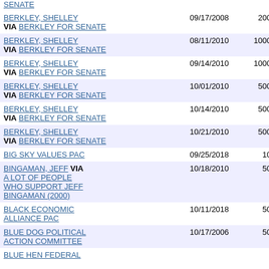| Name / Committee | Date | Amount |  |
| --- | --- | --- | --- |
| BERKLEY, SHELLEY VIA BERKLEY FOR SENATE | 09/17/2008 | 20000.00 |  |
| BERKLEY, SHELLEY VIA BERKLEY FOR SENATE | 08/11/2010 | 100000.00 |  |
| BERKLEY, SHELLEY VIA BERKLEY FOR SENATE | 09/14/2010 | 100000.00 |  |
| BERKLEY, SHELLEY VIA BERKLEY FOR SENATE | 10/01/2010 | 50000.00 |  |
| BERKLEY, SHELLEY VIA BERKLEY FOR SENATE | 10/14/2010 | 50000.00 |  |
| BERKLEY, SHELLEY VIA BERKLEY FOR SENATE | 10/21/2010 | 50000.00 |  |
| BIG SKY VALUES PAC | 09/25/2018 | 1000.00 | 201 |
| BINGAMAN, JEFF VIA A LOT OF PEOPLE WHO SUPPORT JEFF BINGAMAN (2000) | 10/18/2010 | 5000.00 |  |
| BLACK ECONOMIC ALLIANCE PAC | 10/11/2018 | 5000.00 | 201 |
| BLUE DOG POLITICAL ACTION COMMITTEE | 10/17/2006 | 5000.00 |  |
| BLUE HEN FEDERAL... |  |  |  |